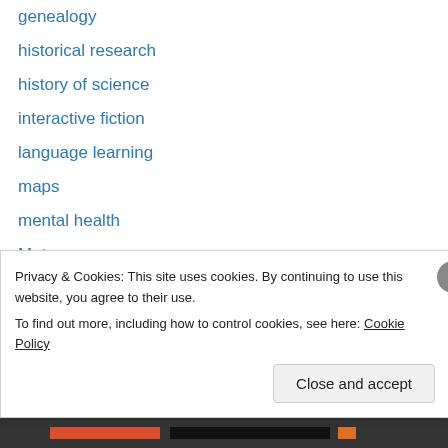genealogy
historical research
history of science
interactive fiction
language learning
maps
mental health
Meta
music
newspaper articles
obituaries
phd
postcards
productivity tips
Privacy & Cookies: This site uses cookies. By continuing to use this website, you agree to their use.
To find out more, including how to control cookies, see here: Cookie Policy
Close and accept